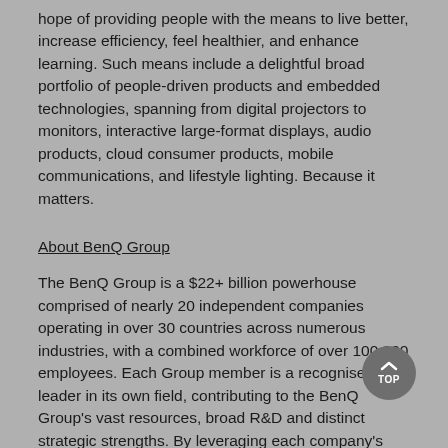hope of providing people with the means to live better, increase efficiency, feel healthier, and enhance learning. Such means include a delightful broad portfolio of people-driven products and embedded technologies, spanning from digital projectors to monitors, interactive large-format displays, audio products, cloud consumer products, mobile communications, and lifestyle lighting. Because it matters.
About BenQ Group
The BenQ Group is a $22+ billion powerhouse comprised of nearly 20 independent companies operating in over 30 countries across numerous industries, with a combined workforce of over 100,000 employees. Each Group member is a recognised leader in its own field, contributing to the BenQ Group's vast resources, broad R&D and distinct strategic strengths. By leveraging each company's vertical specialisation to create true scale across horizontal markets, the BenQ Group controls a highly efficient value chain with the unrivalled ability to deliver critical components and world-class solutions in the following industries: TFT-LCD, green energy, fine chemicals and advanced